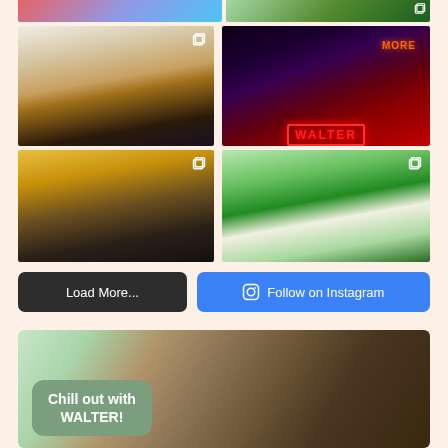[Figure (photo): Top partial row: left photo shows colorful abstract/artwork, right photo shows outdoor greenery scene with watermark text]
[Figure (photo): Woman in red patterned top standing in art studio, multi-page icon in top right corner]
[Figure (photo): Bar interior with neon signs including a red neon WALTER sign and other colorful neon lights]
[Figure (photo): Man playing trumpet in rehearsal setting with sheet music visible, multi-page icon in top right corner]
[Figure (photo): Woman and young girl walking in garden/outdoor area with greenery, multi-page icon in top right corner]
Load More...
Follow on Instagram
[Figure (photo): Outdoor scene with tree trunk, overlaid with a sage green rounded rectangle containing bold white text: Chill out with WALTER!]